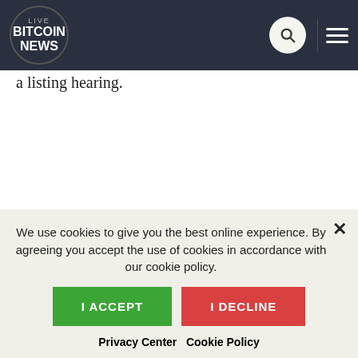LIVE BITCOIN NEWS
the company's business model. They also said the IPO is not going to happen in 2019 as there hasn't been an update from the stock exchange regarding a listing hearing.
A senior equity capital markets banker, who is not involved in the matter, outlined:
With the bitcoin price dropping so much this year, there's a lot of uncertainties over their business. If we cannot forecast their
We use cookies to give you the best online experience. By agreeing you accept the use of cookies in accordance with our cookie policy.
I ACCEPT
I DECLINE
Privacy Center  Cookie Policy